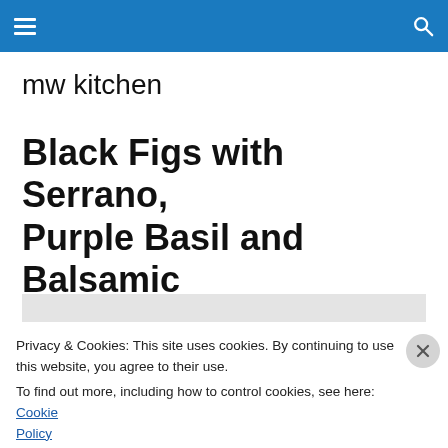mw kitchen — navigation bar
mw kitchen
Black Figs with Serrano, Purple Basil and Balsamic
[Figure (photo): Gray placeholder area for food photo]
Privacy & Cookies: This site uses cookies. By continuing to use this website, you agree to their use.
To find out more, including how to control cookies, see here: Cookie Policy
Close and accept